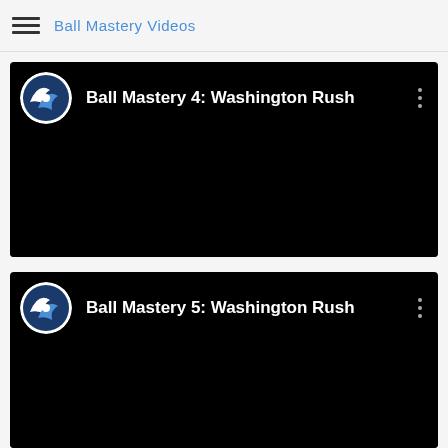Ball Mastery Videos
[Figure (screenshot): Video card for 'Ball Mastery 4: Washington Rush' with black thumbnail and Washington Rush logo]
[Figure (screenshot): Video card for 'Ball Mastery 5: Washington Rush' with black thumbnail and Washington Rush logo]